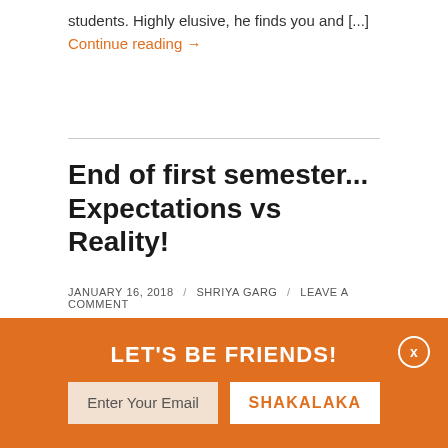students. Highly elusive, he finds you and [...] Continue reading →
End of first semester... Expectations vs Reality!
JANUARY 16, 2018 / SHRIYA GARG / LEAVE A COMMENT
[Figure (photo): Close-up of clock face showing numbers 9, 10, 11, 12 with an orange element on the right side]
LET'S BE FRIENDS!
Enter Your Email
SHAKALAKA